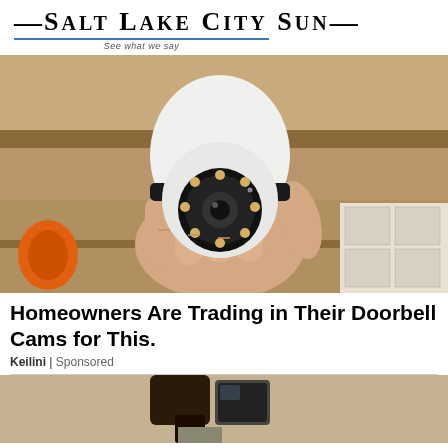[Figure (logo): Salt Lake City Sun logo with tagline 'See what we say' and blue underline]
[Figure (photo): Hand holding a white dome security/surveillance camera with LED ring, orange drill visible in background, boxes on right]
Homeowners Are Trading in Their Doorbell Cams for This.
Keilini | Sponsored
[Figure (photo): Partially visible outdoor light fixture or camera mounted on textured wall, partially cut off at bottom of page]